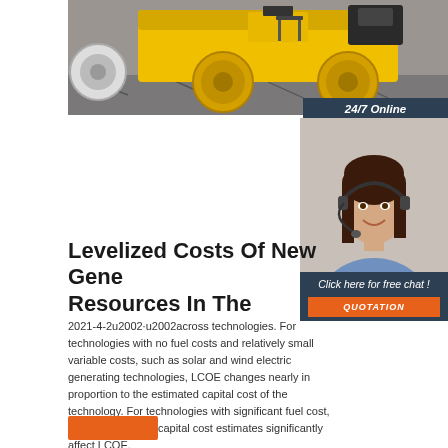[Figure (photo): Construction road roller / compactor machine on cracked asphalt surface]
24/7 Online
[Figure (photo): Woman with headset smiling, customer service representative]
Click here for free chat !
QUOTATION
Levelized Costs Of New Gene Resources In The
2021-4-2u2002·u2002across technologies. For technologies with no fuel costs and relatively small variable costs, such as solar and wind electric generating technologies, LCOE changes nearly in proportion to the estimated capital cost of the technology. For technologies with significant fuel cost, both fuel cost and capital cost estimates significantly affect LCOE.